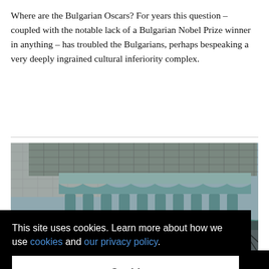Where are the Bulgarian Oscars? For years this question – coupled with the notable lack of a Bulgarian Nobel Prize winner in anything – has troubled the Bulgarians, perhaps bespeaking a very deeply ingrained cultural inferiority complex.
[Figure (photo): Reflection of an ornate building with classical columns in a puddle on cobblestones, with a small colorful object (toy or flower) floating in the reflection. The image appears upside-down, showing the building reflected in water.]
This site uses cookies. Learn more about how we use cookies and our privacy policy.
Got it!
From job opportunities to entertainment options: living in Sofia,